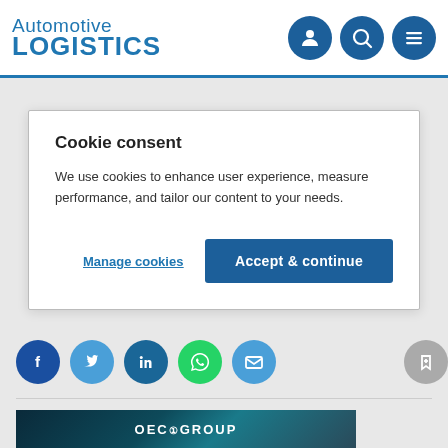Automotive LOGISTICS
Cookie consent
We use cookies to enhance user experience, measure performance, and tailor our content to your needs.
Manage cookies | Accept & continue
[Figure (screenshot): Social media sharing buttons: Facebook, Twitter, LinkedIn, WhatsApp, Email, and a bookmark button on the right]
[Figure (photo): OEC Group branded dark automotive image showing car components]